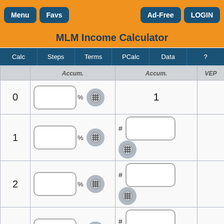Menu | Favs | Ad-Free | LOGIN
MLM Income Calculator
Calc | Steps | Terms | PCalc | Data | ?
|  | Commission | Accum. | VEP |
| --- | --- | --- | --- |
| 0 | [input]% [grid] | 1 |  |
| 1 | [input]% [grid] | # [input] [grid] |  |
| 2 | [input]% [grid] | # [input] [grid] |  |
| 3 | [input]% [grid] | # [input] [grid] |  |
| 4 | [input]% [grid] | # [input] [grid] |  |
| 5 | [input]% [grid] | # [input] [grid] |  |